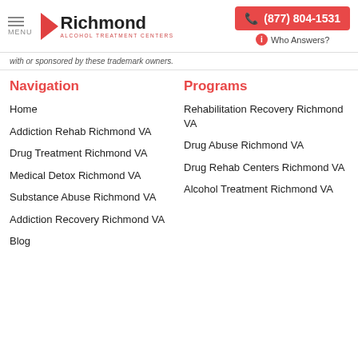Richmond Alcohol Treatment Centers | MENU | (877) 804-1531 | Who Answers?
with or sponsored by these trademark owners.
Navigation
Programs
Home
Addiction Rehab Richmond VA
Drug Treatment Richmond VA
Medical Detox Richmond VA
Substance Abuse Richmond VA
Addiction Recovery Richmond VA
Blog
Rehabilitation Recovery Richmond VA
Drug Abuse Richmond VA
Drug Rehab Centers Richmond VA
Alcohol Treatment Richmond VA